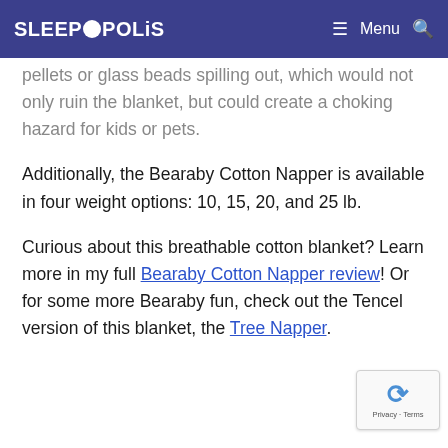SLEEPOPOLIS   Menu
pellets or glass beads spilling out, which would not only ruin the blanket, but could create a choking hazard for kids or pets.
Additionally, the Bearaby Cotton Napper is available in four weight options: 10, 15, 20, and 25 lb.
Curious about this breathable cotton blanket? Learn more in my full Bearaby Cotton Napper review! Or for some more Bearaby fun, check out the Tencel version of this blanket, the Tree Napper.